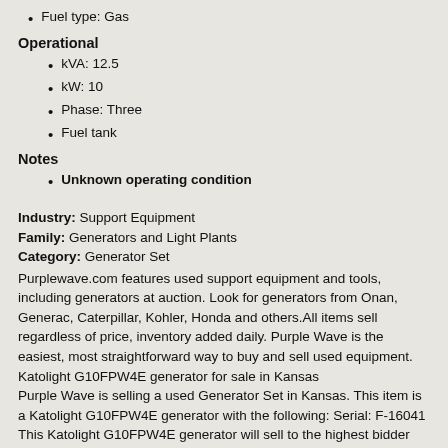Fuel type: Gas
Operational
kVA: 12.5
kW: 10
Phase: Three
Fuel tank
Notes
Unknown operating condition
Industry: Support Equipment
Family: Generators and Light Plants
Category: Generator Set
Purplewave.com features used support equipment and tools, including generators at auction. Look for generators from Onan, Generac, Caterpillar, Kohler, Honda and others.All items sell regardless of price, inventory added daily. Purple Wave is the easiest, most straightforward way to buy and sell used equipment.
Katolight G10FPW4E generator for sale in Kansas
Purple Wave is selling a used Generator Set in Kansas. This item is a Katolight G10FPW4E generator with the following: Serial: F-16041
This Katolight G10FPW4E generator will sell to the highest bidder